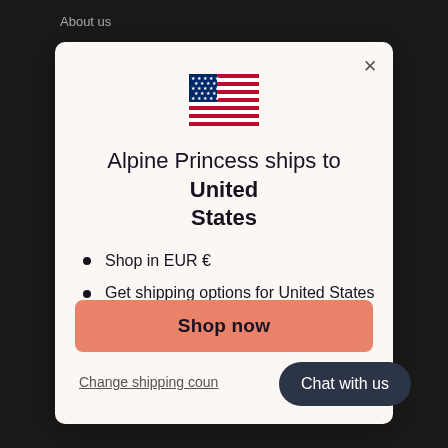About us
[Figure (illustration): US flag emoji/icon displayed at top center of the modal dialog]
Alpine Princess ships to United States
Shop in EUR €
Get shipping options for United States
Shop now
Change shipping country
Chat with us